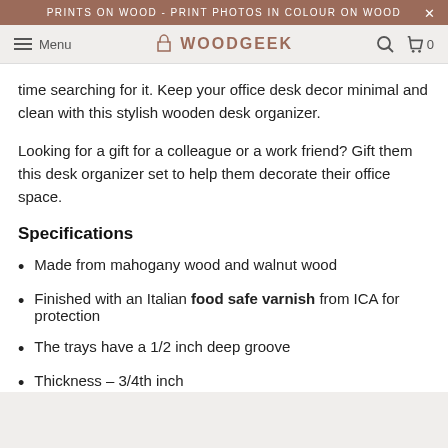PRINTS ON WOOD - PRINT PHOTOS IN COLOUR ON WOOD
Menu  WOODGEEK  0
time searching for it. Keep your office desk decor minimal and clean with this stylish wooden desk organizer.
Looking for a gift for a colleague or a work friend? Gift them this desk organizer set to help them decorate their office space.
Specifications
Made from mahogany wood and walnut wood
Finished with an Italian food safe varnish from ICA for protection
The trays have a 1/2 inch deep groove
Thickness – 3/4th inch